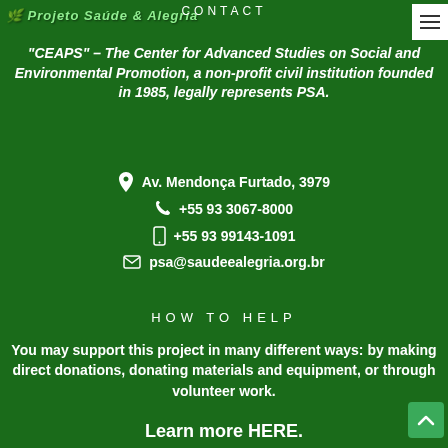CONTACT
"CEAPS" – The Center for Advanced Studies on Social and Environmental Promotion, a non-profit civil institution founded in 1985, legally represents PSA.
Av. Mendonça Furtado, 3979
+55 93 3067-8000
+55 93 99143-1091
psa@saudeealegria.org.br
HOW TO HELP
You may support this project in many different ways: by making direct donations, donating materials and equipment, or through volunteer work.
Learn more HERE.